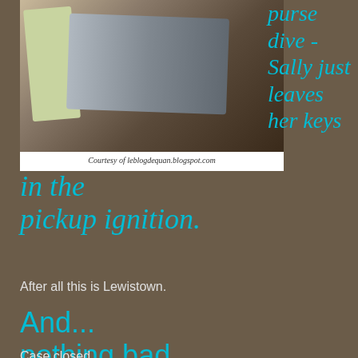[Figure (photo): An overstuffed purse/bag viewed from above, with various items visible inside including papers, a laptop, and other belongings]
Courtesy of leblogdequan.blogspot.com
purse dive - Sally just leaves her keys
in the pickup ignition.
After all this is Lewistown.
And... nothing bad ever happens in Lewistown - RIGHT?
Case closed.